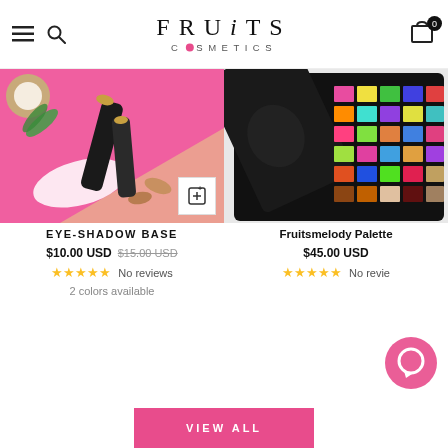FRUITS COSMETICS
[Figure (photo): Eye-shadow base product photo: black tubes and cream on pink background with coconuts and almonds]
EYE-SHADOW BASE
$10.00 USD  $15.00 USD
★★★★★ No reviews
2 colors available
[Figure (photo): Fruitsmelody Palette: colorful eyeshadow palette with illustrated face on package]
Fruitsmelody Palette
$45.00 USD
★★★★★ No revie...
VIEW ALL